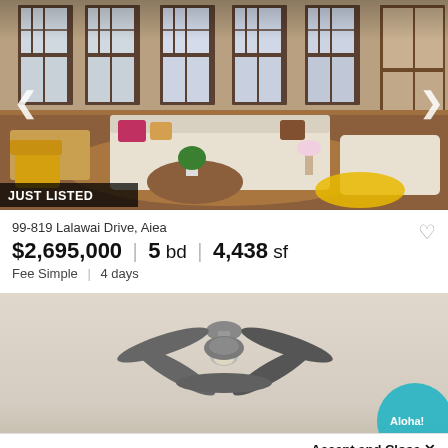[Figure (photo): Interior living room photo of a home with large windows, wooden frames, white sofas, yellow chairs, colorful pillows, and hardwood floors. Navigation arrows on left and right sides.]
JUST LISTED
99-819 Lalawai Drive, Aiea
$2,695,000 | 5 bd | 4,438 sf
Fee Simple | 4 days
[Figure (photo): Interior photo showing a ceiling with a ceiling fan mounted on it, partially obscured by a teal/blue circular graphic overlay in bottom right corner.]
Accept and Close ✕
Your browser settings do not allow cross-site tracking for advertising. Click on this page to allow AdRoll to use cross-site tracking to tailor ads to you. Learn more or opt out of this AdRoll tracking by clicking here. This message only appears once.